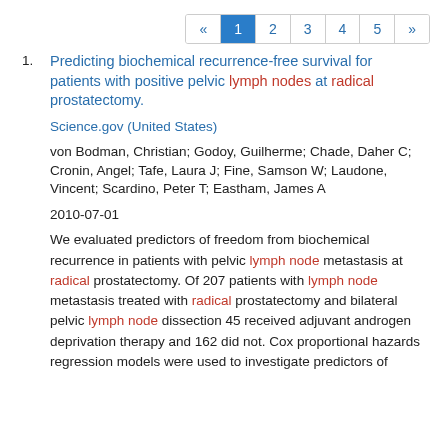« 1 2 3 4 5 »
Predicting biochemical recurrence-free survival for patients with positive pelvic lymph nodes at radical prostatectomy.
Science.gov (United States)
von Bodman, Christian; Godoy, Guilherme; Chade, Daher C; Cronin, Angel; Tafe, Laura J; Fine, Samson W; Laudone, Vincent; Scardino, Peter T; Eastham, James A
2010-07-01
We evaluated predictors of freedom from biochemical recurrence in patients with pelvic lymph node metastasis at radical prostatectomy. Of 207 patients with lymph node metastasis treated with radical prostatectomy and bilateral pelvic lymph node dissection 45 received adjuvant androgen deprivation therapy and 162 did not. Cox proportional hazards regression models were used to investigate predictors of